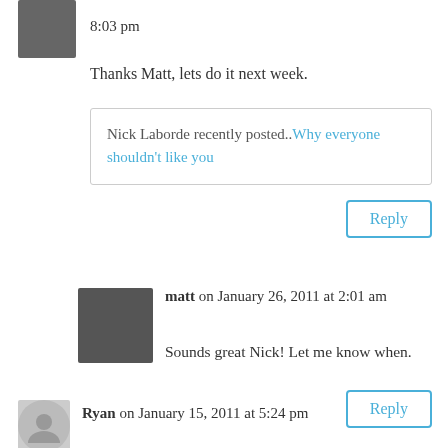8:03 pm
Thanks Matt, lets do it next week.
Nick Laborde recently posted..Why everyone shouldn't like you
Reply
matt on January 26, 2011 at 2:01 am
Sounds great Nick! Let me know when.
Reply
Ryan on January 15, 2011 at 5:24 pm